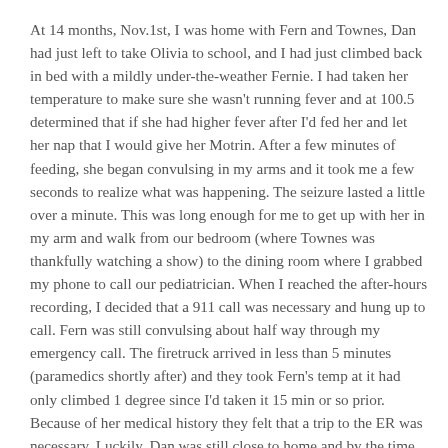At 14 months, Nov.1st, I was home with Fern and Townes, Dan had just left to take Olivia to school, and I had just climbed back in bed with a mildly under-the-weather Fernie. I had taken her temperature to make sure she wasn't running fever and at 100.5 determined that if she had higher fever after I'd fed her and let her nap that I would give her Motrin. After a few minutes of feeding, she began convulsing in my arms and it took me a few seconds to realize what was happening. The seizure lasted a little over a minute. This was long enough for me to get up with her in my arm and walk from our bedroom (where Townes was thankfully watching a show) to the dining room where I grabbed my phone to call our pediatrician. When I reached the after-hours recording, I decided that a 911 call was necessary and hung up to call. Fern was still convulsing about half way through my emergency call. The firetruck arrived in less than 5 minutes (paramedics shortly after) and they took Fern's temp at it had only climbed 1 degree since I'd taken it 15 min or so prior. Because of her medical history they felt that a trip to the ER was necessary. Luckily, Dan was still close to home and by the time we were strapped in and ready to go he was home to hang with Townes. When